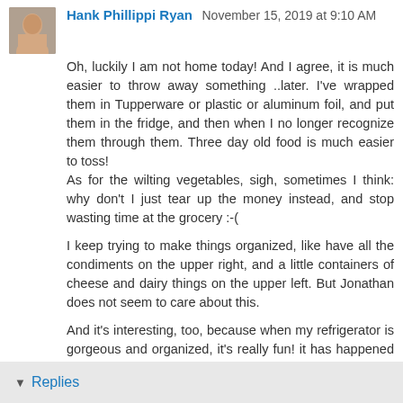Hank Phillippi Ryan  November 15, 2019 at 9:10 AM
Oh, luckily I am not home today! And I agree, it is much easier to throw away something ..later. I've wrapped them in Tupperware or plastic or aluminum foil, and put them in the fridge, and then when I no longer recognize them through them. Three day old food is much easier to toss! As for the wilting vegetables, sigh, sometimes I think: why don't I just tear up the money instead, and stop wasting time at the grocery :-(
I keep trying to make things organized, like have all the condiments on the upper right, and a little containers of cheese and dairy things on the upper left. But Jonathan does not seem to care about this.
And it's interesting, too, because when my refrigerator is gorgeous and organized, it's really fun! it has happened from… Time to time.
Reply
Replies